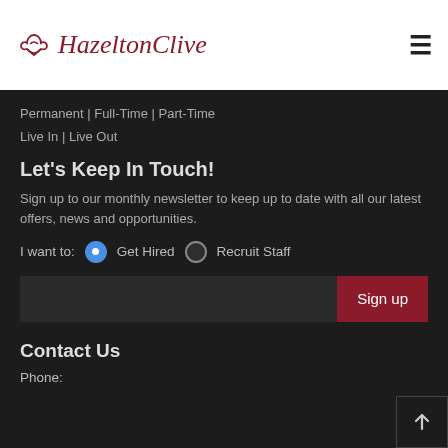[Figure (logo): HazeltonClive logo with crown/leaf icon in dark red and serif text]
Permanent | Full-Time | Part-Time
Live In | Live Out
Let's Keep In Touch!
Sign up to our monthly newsletter to keep up to date with all our latest offers, news and opportunities.
I want to:  Get Hired  Recruit Staff
Sign up
Contact Us
Phone: